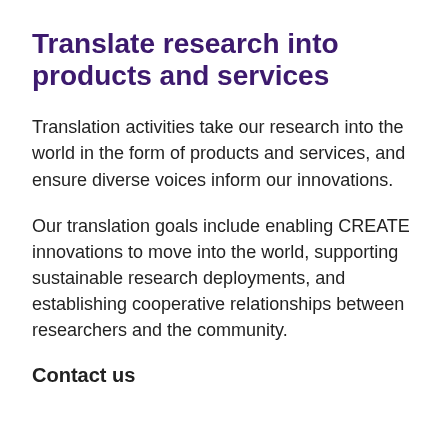Translate research into products and services
Translation activities take our research into the world in the form of products and services, and ensure diverse voices inform our innovations.
Our translation goals include enabling CREATE innovations to move into the world, supporting sustainable research deployments, and establishing cooperative relationships between researchers and the community.
Contact us